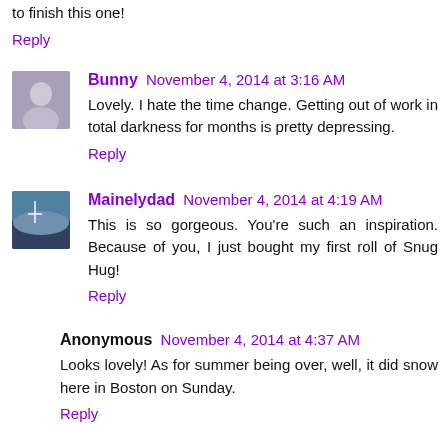to finish this one!
Reply
Bunny  November 4, 2014 at 3:16 AM
Lovely. I hate the time change. Getting out of work in total darkness for months is pretty depressing.
Reply
Mainelydad  November 4, 2014 at 4:19 AM
This is so gorgeous. You're such an inspiration. Because of you, I just bought my first roll of Snug Hug!
Reply
Anonymous  November 4, 2014 at 4:37 AM
Looks lovely! As for summer being over, well, it did snow here in Boston on Sunday.
Reply